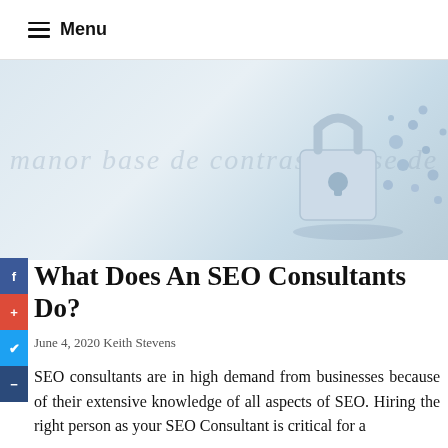Menu
[Figure (illustration): Hero banner with light blue/grey gradient background, decorative italic cursive watermark text, and a 3D render of a padlock with keys/circles floating around it on the right side]
What Does An SEO Consultants Do?
June 4, 2020 Keith Stevens
SEO consultants are in high demand from businesses because of their extensive knowledge of all aspects of SEO. Hiring the right person as your SEO Consultant is critical for a